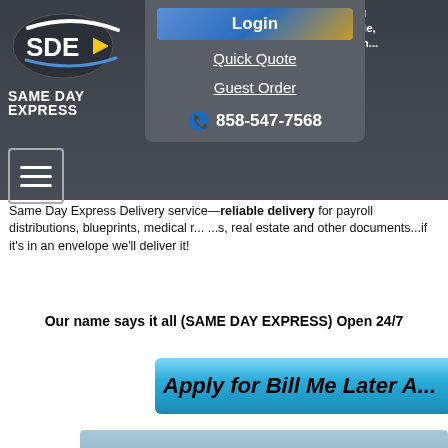[Figure (logo): Same Day Express logo with SDE initials and swoosh graphic, white text on dark background]
...vices in San Diego... Serving ...nge County, Los A... ...verside, ...Bernardino and all of Southern... ...years. Our service... always EXPRESS, S... ...Dependable.
Same Day Express Delivery service—reliable delivery for payroll distributions, blueprints, medical r... ...s, real estate and other documents...if it's in an envelope we'll deliver it!
Our name says it all (SAME DAY EXPRESS) Open 24/7
[Figure (screenshot): Navigation dropdown with Login button, Quick Quote link, Guest Order link, and phone number 858-547-7568]
Apply for Bill Me Later A...
ASAP